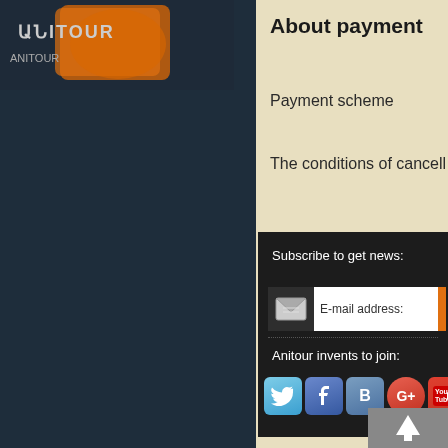[Figure (screenshot): Armenian language logo/banner with orange graphic element on dark background]
About payment
Payment scheme
The conditions of cancell
Subscribe to get news:
E-mail address:
Anitour invents to join:
[Figure (screenshot): Social media icons: Twitter, Facebook, VK, Google+, YouTube]